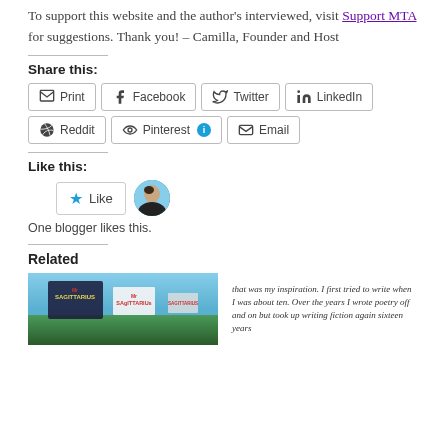To support this website and the author's interviewed, visit Support MTA for suggestions. Thank you! – Camilla, Founder and Host
Share this:
Print | Facebook | Twitter | LinkedIn | Reddit | Pinterest | Email
Like this:
[Figure (other): Like button widget with star icon and blogger avatar thumbnail]
One blogger likes this.
Related
[Figure (photo): Mr Sagittarius book cover thumbnail]
[Figure (photo): Handwritten text excerpt: that was my inspiration. I first tried to write when I was about ten. Over the years I wrote poetry off and on but took up writing fiction again sixteen years]